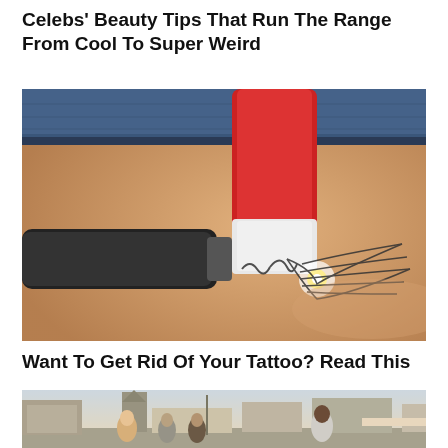Celebs' Beauty Tips That Run The Range From Cool To Super Weird
[Figure (photo): Close-up photo of a laser tattoo removal procedure being performed on skin with a wing/feather tattoo design, showing a red and white tube applicator and black laser device tip]
Want To Get Rid Of Your Tattoo? Read This
[Figure (photo): Street scene photo showing a group of young people walking on a town main street with buildings, a church steeple, and storefronts in the background]